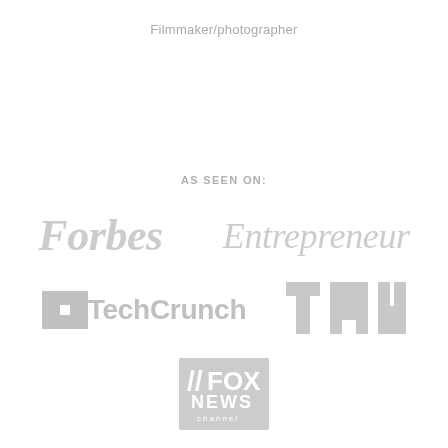Filmmaker/photographer
AS SEEN ON:
[Figure (logo): Forbes logo in light gray italic serif font]
[Figure (logo): Entrepreneur logo in light gray italic serif font]
[Figure (logo): TechCrunch logo in light gray with TC icon and wordmark]
[Figure (logo): TNW (The Next Web) logo in light gray bold sans-serif]
[Figure (logo): Fox News Channel logo in light gray box with slash]